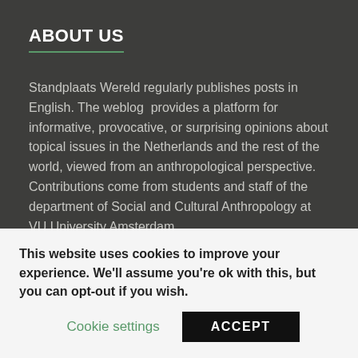ABOUT US
Standplaats Wereld regularly publishes posts in English. The weblog provides a platform for informative, provocative, or surprising opinions about topical issues in the Netherlands and the rest of the world, viewed from an anthropological perspective. Contributions come from students and staff of the department of Social and Cultural Anthropology at VU University Amsterdam.
For more information about our department and the research of the staff consult our website.
This website uses cookies to improve your experience. We'll assume you're ok with this, but you can opt-out if you wish.
Cookie settings   ACCEPT